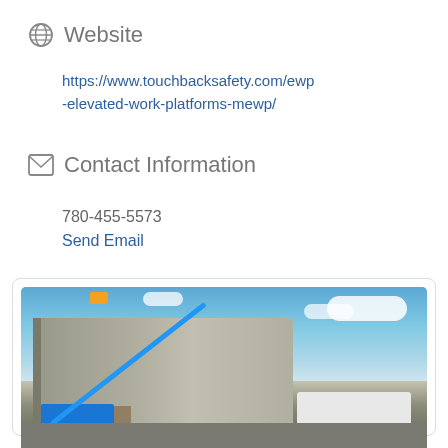Website
https://www.touchbacksafety.com/ewp-elevated-work-platforms-mewp/
Contact Information
780-455-5573
Send Email
[Figure (photo): A blue boom lift (Genie S-60) with an operator in the basket extended at an angle against an industrial metal building facade, with a white truck parked nearby, under a partly cloudy blue sky.]